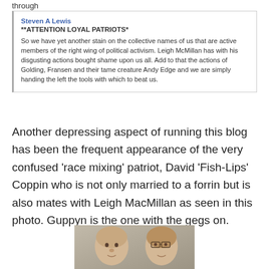through
Steven A Lewis
**ATTENTION LOYAL PATRIOTS*

So we have yet another stain on the collective names of us that are active members of the right wing of political activism. Leigh McMillan has with his disgusting actions bought shame upon us all. Add to that the actions of Golding, Fransen and their tame creature Andy Edge and we are simply handing the left the tools with which to beat us.
Another depressing aspect of running this blog has been the frequent appearance of the very confused ‘race mixing’ patriot, David ‘Fish-Lips’ Coppin who is not only married to a forrin but is also mates with Leigh MacMillan as seen in this photo. Guppyn is the one with the gegs on.
[Figure (photo): A photograph showing two men taking a selfie-style photo together.]